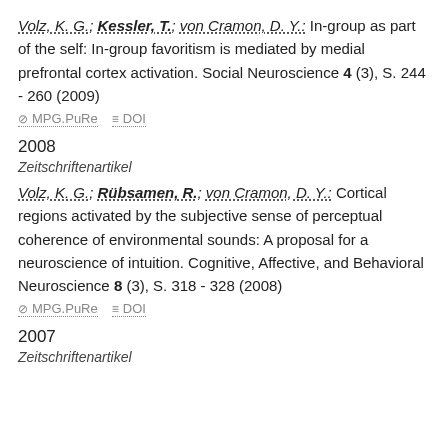Volz, K. G.; Kessler, T.; von Cramon, D. Y.: In-group as part of the self: In-group favoritism is mediated by medial prefrontal cortex activation. Social Neuroscience 4 (3), S. 244 - 260 (2009)
MPG.PuRe   DOI
2008
Zeitschriftenartikel
Volz, K. G.; Rübsamen, R.; von Cramon, D. Y.: Cortical regions activated by the subjective sense of perceptual coherence of environmental sounds: A proposal for a neuroscience of intuition. Cognitive, Affective, and Behavioral Neuroscience 8 (3), S. 318 - 328 (2008)
MPG.PuRe   DOI
2007
Zeitschriftenartikel